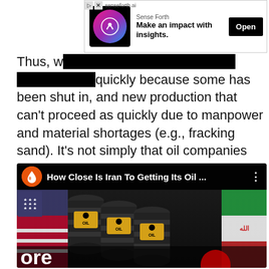[Figure (screenshot): Advertisement banner for 'Sense Forth' app with tagline 'Make an impact with insights.' and an Open button]
Thus, we have oil production that can bounce back quickly because some has been shut in, and new production that can't proceed as quickly due to manpower and material shortages (e.g., fracking sand). It's not simply that oil companies are sitting on permits. They are working through them. The number of rigs drilling for oil and gas has risen by 60% over the past year. But it can take years for a permit to translate into oil production (if the location even yields oil).
[Figure (screenshot): YouTube video thumbnail showing oil barrels with US and Iranian flags, titled 'How Close Is Iran To Getting Its Oil ...' with partial text 'ore' visible at bottom]